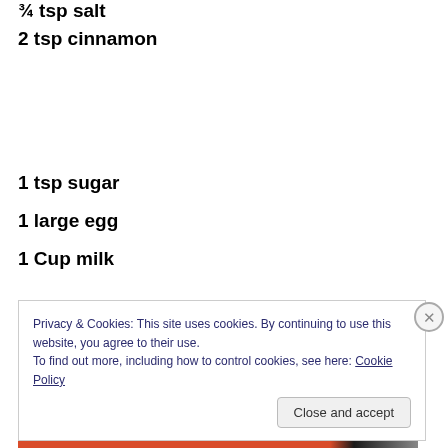¾ tsp salt
2 tsp cinnamon
1 tsp sugar
1 large egg
1 Cup milk
Privacy & Cookies: This site uses cookies. By continuing to use this website, you agree to their use.
To find out more, including how to control cookies, see here: Cookie Policy